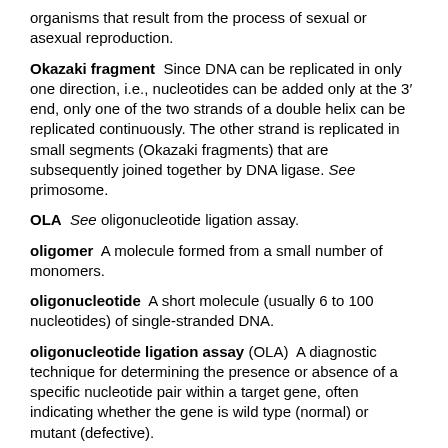organisms that result from the process of sexual or asexual reproduction.
Okazaki fragment  Since DNA can be replicated in only one direction, i.e., nucleotides can be added only at the 3′ end, only one of the two strands of a double helix can be replicated continuously. The other strand is replicated in small segments (Okazaki fragments) that are subsequently joined together by DNA ligase. See primosome.
OLA  See oligonucleotide ligation assay.
oligomer  A molecule formed from a small number of monomers.
oligonucleotide  A short molecule (usually 6 to 100 nucleotides) of single-stranded DNA.
oligonucleotide ligation assay (OLA)  A diagnostic technique for determining the presence or absence of a specific nucleotide pair within a target gene, often indicating whether the gene is wild type (normal) or mutant (defective).
oligonucleotide-directed mutagenesis;  oligonucleotide-directed site-specific mutagenesis. See site-specific mutagenesis.